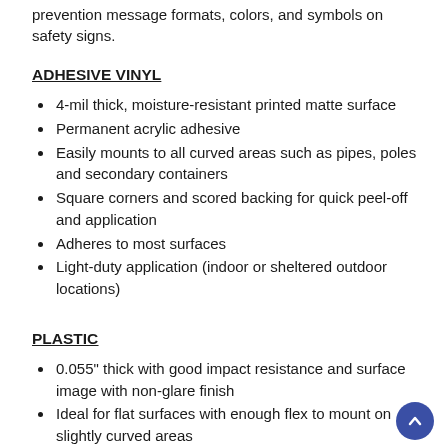prevention message formats, colors, and symbols on safety signs.
ADHESIVE VINYL
4-mil thick, moisture-resistant printed matte surface
Permanent acrylic adhesive
Easily mounts to all curved areas such as pipes, poles and secondary containers
Square corners and scored backing for quick peel-off and application
Adheres to most surfaces
Light-duty application (indoor or sheltered outdoor locations)
PLASTIC
0.055" thick with good impact resistance and surface image with non-glare finish
Ideal for flat surfaces with enough flex to mount on slightly curved areas
Contains UV inhibitors
Rounded corners and 3/16" mounting holes
Medium-duty application (indoor or sheltered outdoor locations)